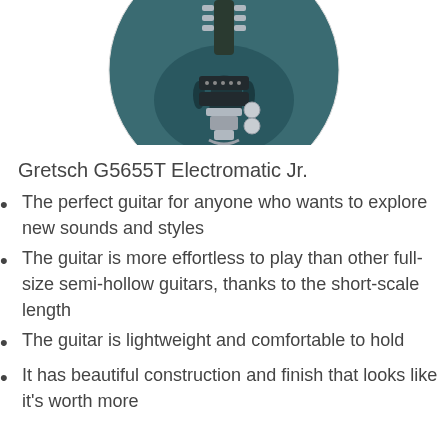[Figure (photo): Top portion of a Gretsch G5655T Electromatic Jr. semi-hollow electric guitar in teal/dark green color with chrome hardware, shown from above in a circular cropped view]
Gretsch G5655T Electromatic Jr.
The perfect guitar for anyone who wants to explore new sounds and styles
The guitar is more effortless to play than other full-size semi-hollow guitars, thanks to the short-scale length
The guitar is lightweight and comfortable to hold
It has beautiful construction and finish that looks like it's worth more